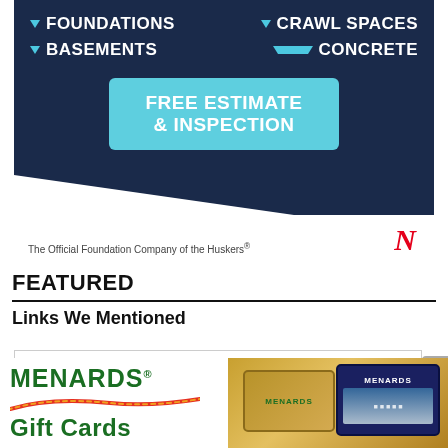[Figure (advertisement): Foundation company advertisement on dark navy background. Shows: FOUNDATIONS, CRAWL SPACES, BASEMENTS, CONCRETE with arrow icons. Large button: FREE ESTIMATE & INSPECTION. Bottom white strip: 'The Official Foundation Company of the Huskers' with red N logo.]
FEATURED
Links We Mentioned
[Figure (advertisement): NFM advertisement. White background with large black box containing NFM text in white bold letters. Close button X in top right.]
[Figure (advertisement): Menards Gift Cards banner advertisement at bottom. White left section with Menards logo in green with red swoosh. Green right section with gift card imagery showing Menards branded gift cards.]